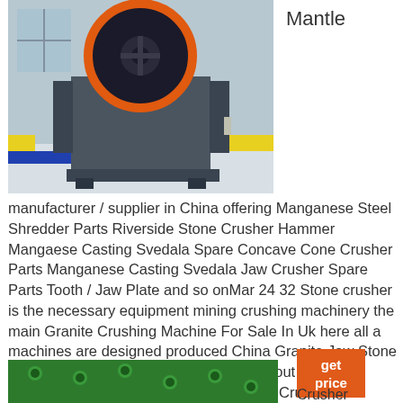[Figure (photo): Industrial jaw crusher machine with orange flywheel, grey body, photographed on a white surface in what appears to be a factory or showroom]
Mantle
manufacturer / supplier in China offering Manganese Steel Shredder Parts Riverside Stone Crusher Hammer Mangaese Casting Svedala Spare Concave Cone Crusher Parts Manganese Casting Svedala Jaw Crusher Spare Parts Tooth / Jaw Plate and so onMar 24 32 Stone crusher is the necessary equipment mining crushing machinery the main Granite Crushing Machine For Sale In Uk here all a machines are designed produced China Granite Jaw Stone Crusher for Sale 400 600 Find details about Antique HERSHEY CHOCOLATE Granite Cocoa Crusher
[Figure (photo): Close-up of green metal surface with raised studs or bolts, partially visible at bottom of page]
get price
Crusher